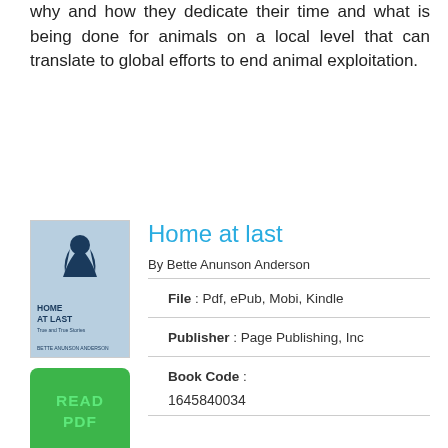why and how they dedicate their time and what is being done for animals on a local level that can translate to global efforts to end animal exploitation.
Home at last
By Bette Anunson Anderson
File : Pdf, ePub, Mobi, Kindle
Publisher : Page Publishing, Inc
Book Code : 1645840034
[Figure (illustration): Book cover of 'Home at Last' showing a silhouette of a dog on a blue-grey background with title text]
[Figure (other): Green button with text READ PDF]